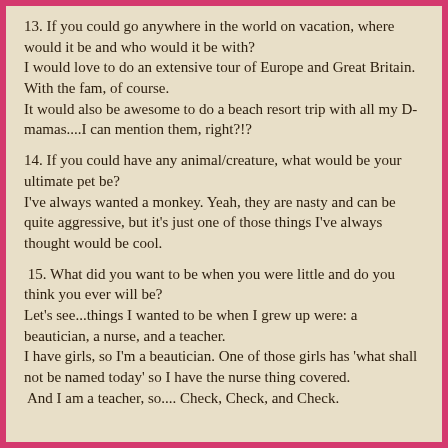13. If you could go anywhere in the world on vacation, where would it be and who would it be with?
I would love to do an extensive tour of Europe and Great Britain.  With the fam, of course.
It would also be awesome to do a beach resort trip with all my D-mamas....I can mention them, right?!?
14. If you could have any animal/creature, what would be your ultimate pet be?
I've always wanted a monkey.  Yeah, they are nasty and can be quite aggressive, but it's just one of those things I've always thought would be cool.
15. What did you want to be when you were little and do you think you ever will be?
Let's see...things I wanted to be when I grew up were: a beautician, a nurse, and a teacher.
I have girls, so I'm a beautician.  One of those girls has 'what shall not be named today' so I have the nurse thing covered.
 And I am a teacher, so....  Check, Check, and Check.